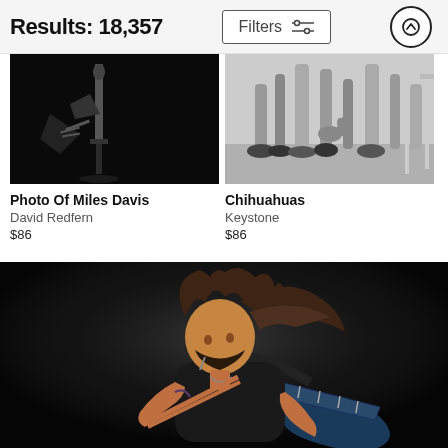Results: 18,357
[Figure (photo): Black and white photo of Miles Davis, showing legs and microphone stand]
[Figure (photo): Black and white photo of chihuahuas among people's feet]
Photo Of Miles Davis
David Redfern
$86
Chihuahuas
Keystone
$86
[Figure (photo): Color photo of a rock guitarist with long hair flying, playing guitar on stage]